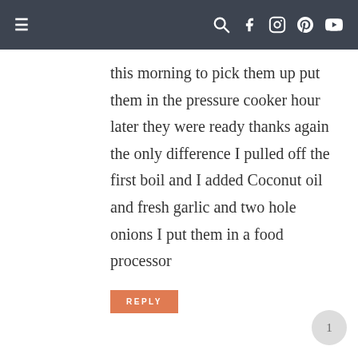≡  [navigation icons: search, facebook, instagram, pinterest, youtube]
this morning to pick them up put them in the pressure cooker hour later they were ready thanks again the only difference I pulled off the first boil and I added Coconut oil and fresh garlic and two hole onions I put them in a food processor
REPLY
ROSIE SAYS
APRIL 24, 2017 AT 4:24 PM
Hi there! I'm glad that you liked the recipe! XOXO